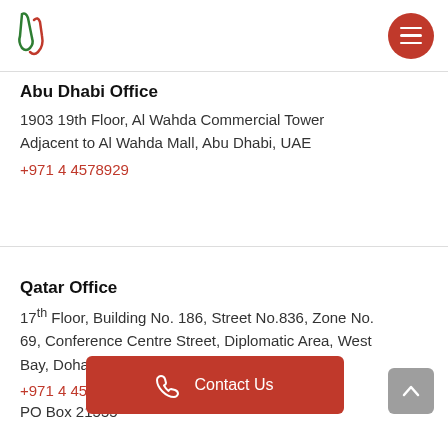[Figure (logo): Company logo with green and red stylized letters]
Abu Dhabi Office
1903 19th Floor, Al Wahda Commercial Tower Adjacent to Al Wahda Mall, Abu Dhabi, UAE
+971 4 4578929
Qatar Office
17th Floor, Building No. 186, Street No.836, Zone No. 69, Conference Centre Street, Diplomatic Area, West Bay, Doha, Qatar
+971 4 4578929
PO Box 21555
[Figure (other): Contact Us button with phone icon]